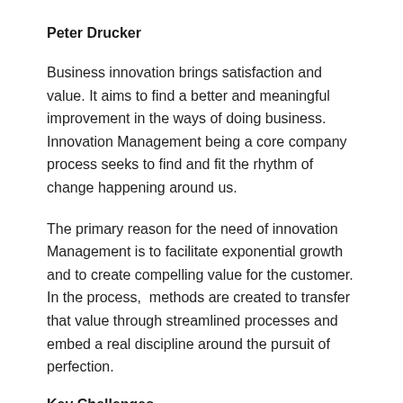Peter Drucker
Business innovation brings satisfaction and value. It aims to find a better and meaningful improvement in the ways of doing business. Innovation Management being a core company process seeks to find and fit the rhythm of change happening around us.
The primary reason for the need of innovation Management is to facilitate exponential growth and to create compelling value for the customer. In the process,  methods are created to transfer that value through streamlined processes and embed a real discipline around the pursuit of perfection.
Key Challenges
Organizations are grappling with the following